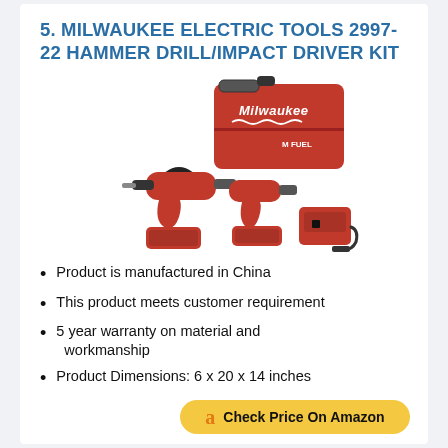5. MILWAUKEE ELECTRIC TOOLS 2997-22 HAMMER DRILL/IMPACT DRIVER KIT
[Figure (photo): Milwaukee Electric Tools 2997-22 kit showing a hammer drill, impact driver, two red batteries, a charger, and a red Milwaukee carrying case with handle]
Product is manufactured in China
This product meets customer requirement
5 year warranty on material and workmanship
Product Dimensions: 6 x 20 x 14 inches
Check Price On Amazon